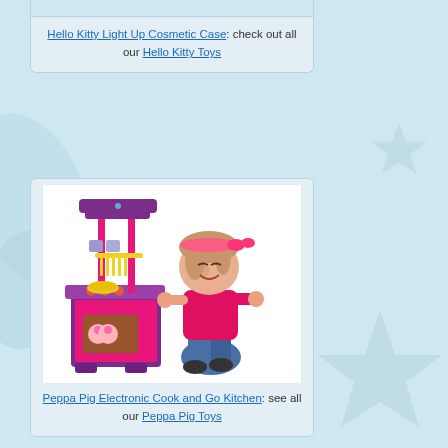[Figure (photo): Partial view of Hello Kitty Light Up Cosmetic Case toy product at top of page]
Hello Kitty Light Up Cosmetic Case: check out all our Hello Kitty Toys
[Figure (photo): Young girl with pink headband playing with a Peppa Pig Electronic Cook and Go Kitchen toy set in pink and purple colors with yellow accessories]
Peppa Pig Electronic Cook and Go Kitchen: see all our Peppa Pig Toys